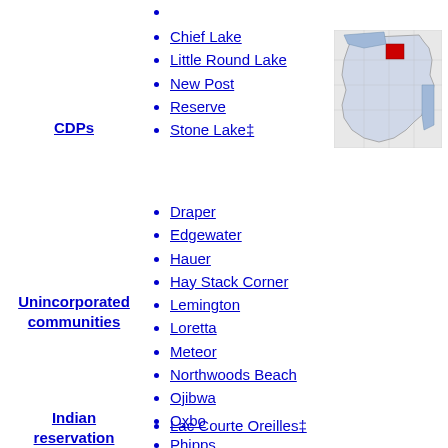CDPs
Chief Lake
Little Round Lake
New Post
Reserve
Stone Lake‡
[Figure (map): Map of Wisconsin with a county highlighted in red in the northern region]
Unincorporated communities
Draper
Edgewater
Hauer
Hay Stack Corner
Lemington
Loretta
Meteor
Northwoods Beach
Ojibwa
Oxbo
Phipps
Seeley
Weirgor
Wooddale
Yarnell
Indian reservation
Lac Courte Oreilles‡